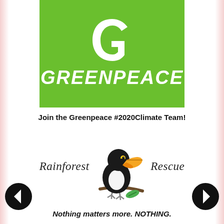[Figure (logo): Greenpeace logo: green square with white stylized 'G' icon on top and white bold italic GREENPEACE wordmark below]
Join the Greenpeace #2020Climate Team!
[Figure (logo): Rainforest Rescue logo: toucan bird illustration in black, white, and orange/yellow beak, perched on branch with green leaf, flanked by italic text 'Rainforest' and 'Rescue']
Nothing matters more. NOTHING.